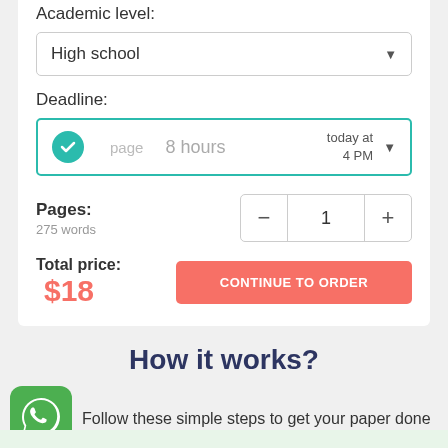Academic level:
High school
Deadline:
page   8 hours   today at 4 PM
Pages:
275 words
1
Total price: $18
CONTINUE TO ORDER
How it works?
Follow these simple steps to get your paper done